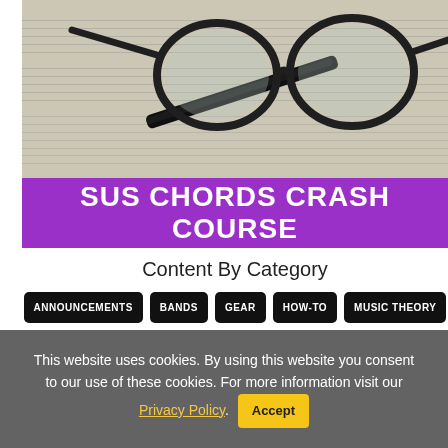[Figure (photo): Photo of eyeglasses and a pen resting on sheet music paper]
SUS CHORDS CRASH COURSE
Content By Category
ANNOUNCEMENTS
BANDS
GEAR
HOW-TO
MUSIC THEORY
QUIZ
This website uses cookies. By using this website you consent to our use of these cookies. For more information visit our Privacy Policy. Accept